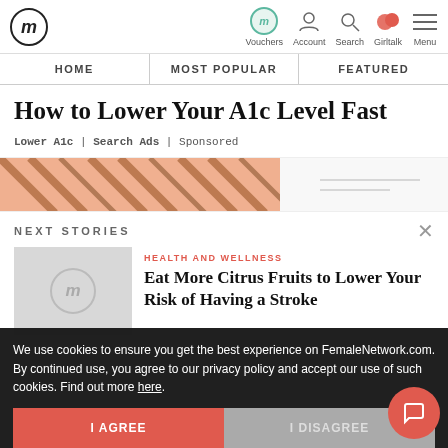fm | Vouchers | Account | Search | Girltalk | Menu
HOME | MOST POPULAR | FEATURED
How to Lower Your A1c Level Fast
Lower A1c | Search Ads | Sponsored
[Figure (illustration): Partial advertisement banner with diagonal brown/copper lines on peach/orange background]
NEXT STORIES
HEALTH AND WELLNESS
Eat More Citrus Fruits to Lower Your Risk of Having a Stroke
We use cookies to ensure you get the best experience on FemaleNetwork.com. By continued use, you agree to our privacy policy and accept our use of such cookies. Find out more here.